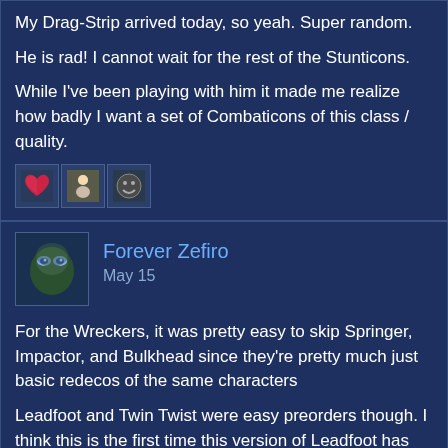My Drag-Strip arrived today, so yeah. Super random.

He is rad! I cannot wait for the rest of the Stunticons.

While I've been playing with him it made me realize how badly I want a set of Combaticons of this class / quality.
[Figure (other): Three reaction emoji/icon thumbnails: a heart, a figure, and a smiley face]
[Figure (other): User avatar showing an alien/robot face illustration]
Forever Zefiro
May 15
For the Wreckers, it was pretty easy to skip Springer, Impactor, and Bulkhead since they're pretty much just basic redecos of the same characters

Leadfoot and Twin Twist were easy preorders though. I think this is the first time this version of Leadfoot has been released since the original G2? Poor guy has been overshadowed by the (imo) stupid Bayverse version. And I was never able to find the original TR Twin Twist release, only Topspin, and frankly I think the Diaclone colors look way better here.